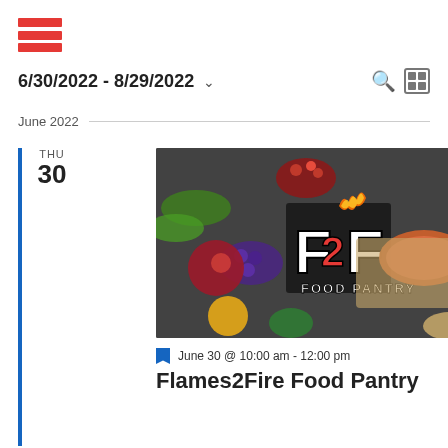[Figure (logo): Hamburger menu icon with three red horizontal bars]
6/30/2022 - 8/29/2022
June 2022
[Figure (photo): F2F Food Pantry logo overlay on a spread of colorful vegetables, fruits, nuts, salmon and spices on a dark background]
June 30 @ 10:00 am - 12:00 pm
Flames2Fire Food Pantry